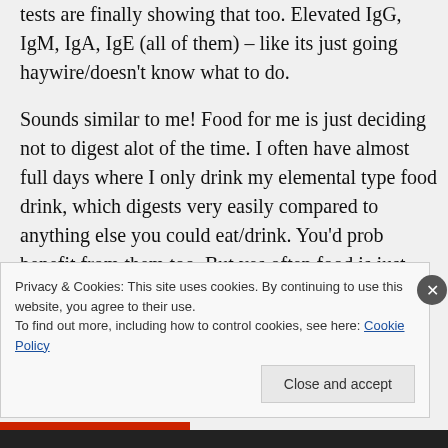my immune system is totally shot. My blood tests are finally showing that too. Elevated IgG, IgM, IgA, IgE (all of them) – like its just going haywire/doesn't know what to do.
Sounds similar to me! Food for me is just deciding not to digest alot of the time. I often have almost full days where I only drink my elemental type food drink, which digests very easily compared to anything else you could eat/drink. You'd prob benefit from them too. But yes often food is just
Privacy & Cookies: This site uses cookies. By continuing to use this website, you agree to their use.
To find out more, including how to control cookies, see here: Cookie Policy